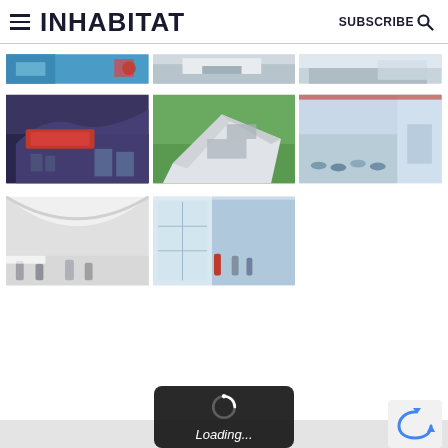INHABITAT — SUBSCRIBE
[Figure (photo): Grid of architectural renderings showing modern building interiors and exteriors — partial thumbnails in row 1, full thumbnails in rows 2 and 3. Row 1 (partial): colorful exhibit space, white modern interior, glass building exterior. Row 2 (full): building entrance with red signage, aerial view of angular modern structure with greenery, crowded interior with large windows. Row 3 (full): white curved interior space with people, glass-fronted building with people inside.]
[Figure (screenshot): Loading overlay — dark rounded rectangle with spinning loader icon and 'Loading...' italic text in white, on a light grey bar background. reCAPTCHA badge visible at bottom right.]